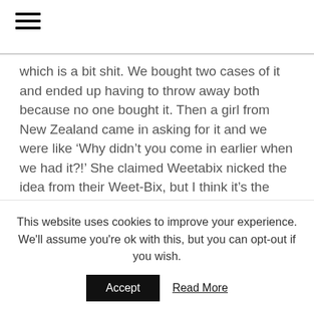which is a bit shit. We bought two cases of it and ended up having to throw away both because no one bought it. Then a girl from New Zealand came in asking for it and we were like ‘Why didn’t you come in earlier when we had it?!’ She claimed Weetabix nicked the idea from their Weet-Bix, but I think it’s the other way round. But then that’s cereal politics.
You’ve become poster boys for the down side of the ‘hipsterfication’ of places like Shoreditch and had a lot of flak both in person and in the
This website uses cookies to improve your experience. We'll assume you're ok with this, but you can opt-out if you wish.
Accept   Read More